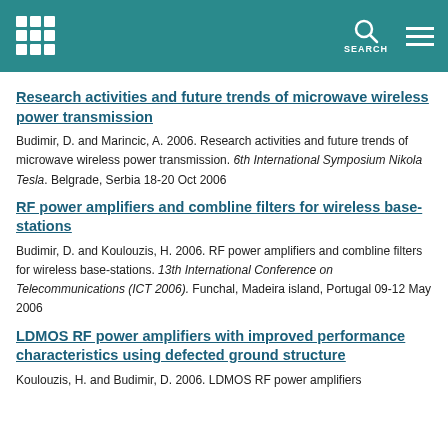SEARCH
Research activities and future trends of microwave wireless power transmission
Budimir, D. and Marincic, A. 2006. Research activities and future trends of microwave wireless power transmission. 6th International Symposium Nikola Tesla. Belgrade, Serbia 18-20 Oct 2006
RF power amplifiers and combline filters for wireless base-stations
Budimir, D. and Koulouzis, H. 2006. RF power amplifiers and combline filters for wireless base-stations. 13th International Conference on Telecommunications (ICT 2006). Funchal, Madeira island, Portugal 09-12 May 2006
LDMOS RF power amplifiers with improved performance characteristics using defected ground structure
Koulouzis, H. and Budimir, D. 2006. LDMOS RF power amplifiers